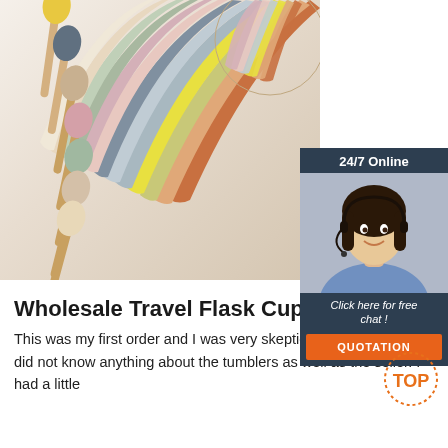[Figure (photo): Product photo showing colorful silicone spoons with wooden handles arranged vertically on the left, and a fan/spread of colorful silicone sheets/mats in various pastel and bold colors fanned out to the right, on a light beige background.]
[Figure (infographic): Chat widget overlay with dark navy background. Top section reads '24/7 Online'. Middle shows a photo of a smiling woman with headset (customer service agent). Bottom section reads 'Click here for free chat !' and an orange button labeled 'QUOTATION'.]
Wholesale Travel Flask Cup - DHgate
This was my first order and I was very skeptical buying because I did not know anything about the tumblers as well as the seller. I had a little